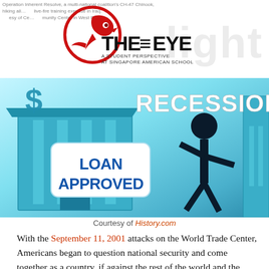THE EYE — A Student Perspective at Singapore American School
[Figure (illustration): Recession illustration showing a stick figure person, a bank building with 'LOAN APPROVED' sign, dollar sign, and the word 'RECESSION' in large white block letters on a blue/cyan background.]
Courtesy of History.com
With the September 11, 2001 attacks on the World Trade Center, Americans began to question national security and come together as a country, if against the rest of the world and the dangers that it housed. The